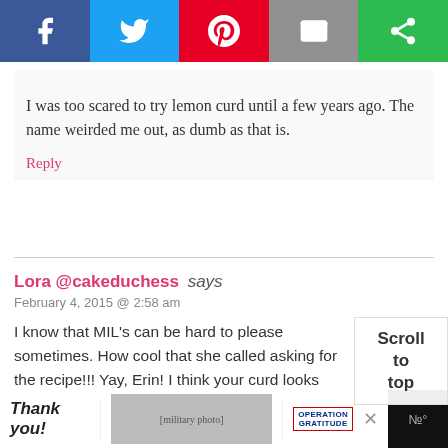[Figure (other): Social media share bar with Facebook (blue), Twitter (light blue), Pinterest (red), Email (grey), and another share option (green) buttons]
I was too scared to try lemon curd until a few years ago. The name weirded me out, as dumb as that is.
Reply
Lora @cakeduchess says
February 4, 2015 @ 2:58 am
I know that MIL's can be hard to please sometimes. How cool that she called asking for the recipe!!! Yay, Erin! I think your curd looks quite perfect and I am craving a couple of your cookies with a hot cup of tea. :)
[Figure (other): Advertisement bar at bottom: Thank you Operation Gratitude ad with military photo, close button, and weather widget icon]